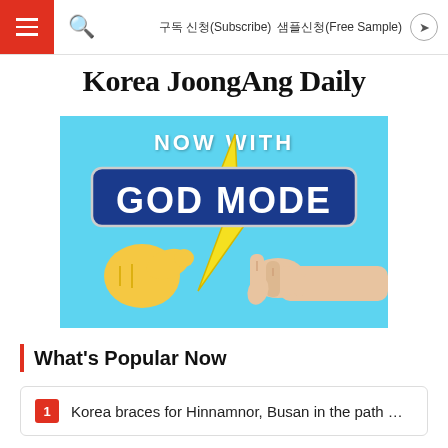구독 신청(Subscribe)   샘플신청(Free Sample)
Korea JoongAng Daily
[Figure (illustration): Advertisement banner with light blue background showing 'NOW WITH GOD MODE' text, yellow lightning bolt, a yellow emoji-style pointing hand on the left and a human hand reaching from the right, referencing Michelangelo's Creation of Adam]
What's Popular Now
Korea braces for Hinnamnor, Busan in the path …